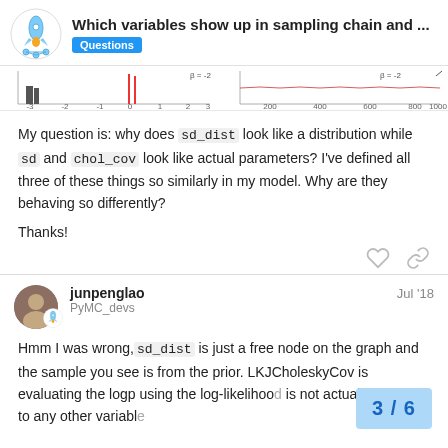Which variables show up in sampling chain and ... | Questions
[Figure (continuous-plot): Two small distribution/trace plots cropped at the top of the page, showing axis labels around -3 to 3 and 0 to 1000.]
My question is: why does sd_dist look like a distribution while sd and chol_cov look like actual parameters? I've defined all three of these things so similarly in my model. Why are they behaving so differently?
Thanks!
junpenglao  Jul '18
PyMC_devs
Hmm I was wrong, sd_dist is just a free node on the graph and the sample you see is from the prior. LKJCholeskyCov is evaluating the logp using the log-likelihood... is not actually connect to any other variabl...
3 / 6